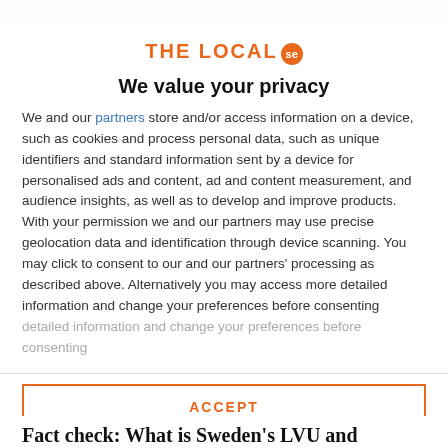[Figure (logo): THE LOCAL se logo with orange text and orange circle badge]
We value your privacy
We and our partners store and/or access information on a device, such as cookies and process personal data, such as unique identifiers and standard information sent by a device for personalised ads and content, ad and content measurement, and audience insights, as well as to develop and improve products. With your permission we and our partners may use precise geolocation data and identification through device scanning. You may click to consent to our and our partners' processing as described above. Alternatively you may access more detailed information and change your preferences before consenting
ACCEPT
MORE OPTIONS
Fact check: What is Sweden's LVU and